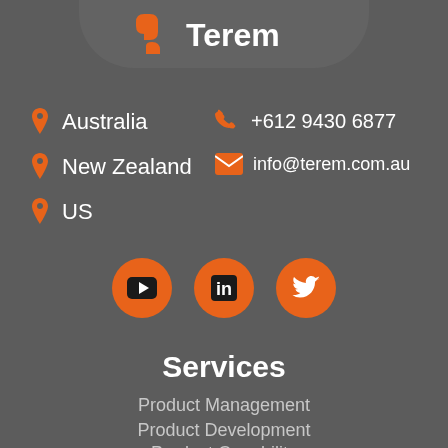[Figure (logo): Terem company logo with orange icon and white text on rounded banner]
Australia
New Zealand
US
+612 9430 6877
info@terem.com.au
[Figure (infographic): Three orange circular social media icons: YouTube, LinkedIn, Twitter]
Services
Product Management
Product Development
Product Capability